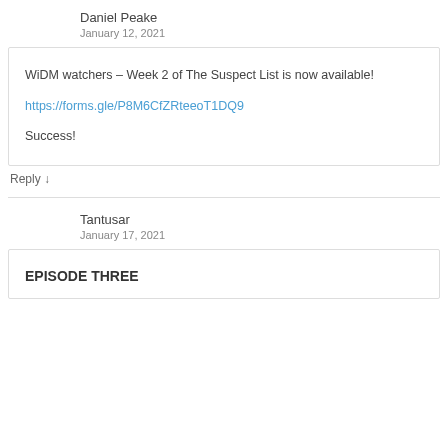Daniel Peake
January 12, 2021
WiDM watchers – Week 2 of The Suspect List is now available!

https://forms.gle/P8M6CfZRteeoT1DQ9

Success!
Reply ↓
Tantusar
January 17, 2021
EPISODE THREE